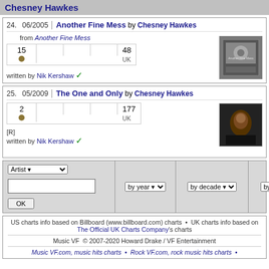Chesney Hawkes
24. | 06/2005 | Another Fine Mess by Chesney Hawkes from Another Fine Mess
15 | | | 48 UK
written by Nik Kershaw ✓
[Figure (photo): Album cover thumbnail for Another Fine Mess]
25. | 05/2009 | The One and Only by Chesney Hawkes
2 | | | 177 UK
[R]
written by Nik Kershaw ✓
[Figure (photo): Photo of Chesney Hawkes performing]
| Artist dropdown | by year | by decade | by artist | Contact us / Facebook |
| --- | --- | --- | --- | --- |
| Artist ▾ | by year ▾ | by decade ▾ | by artist ▾ | Contact us / I like MVF |
US charts info based on Billboard (www.billboard.com) charts  •  UK charts info based on The Official UK Charts Company's charts
Music VF  © 2007-2020 Howard Drake / VF Entertainment
Music VF.com, music hits charts  •  Rock VF.com, rock music hits charts  •